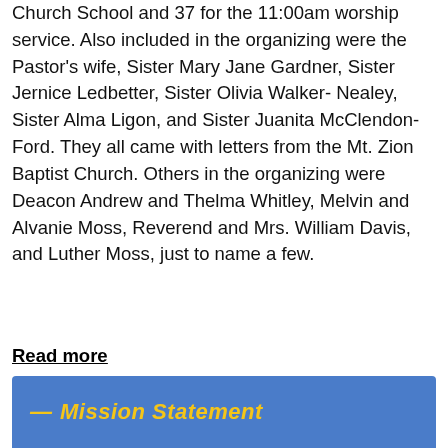Church School and 37 for the 11:00am worship service. Also included in the organizing were the Pastor's wife, Sister Mary Jane Gardner, Sister Jernice Ledbetter, Sister Olivia Walker- Nealey, Sister Alma Ligon, and Sister Juanita McClendon-Ford. They all came with letters from the Mt. Zion Baptist Church. Others in the organizing were Deacon Andrew and Thelma Whitley, Melvin and Alvanie Moss, Reverend and Mrs. William Davis, and Luther Moss, just to name a few.
Read more
— Mission Statement